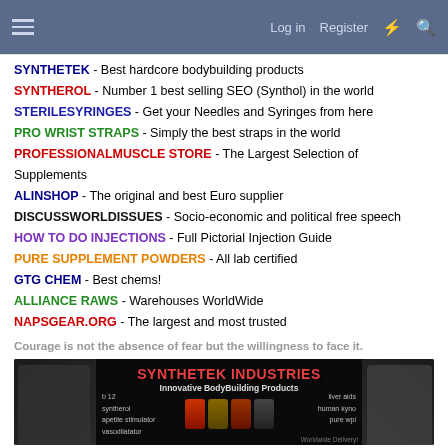Log in   Register
SYNTHETEK - Best hardcore bodybuilding products
SYNTHEROL - Number 1 best selling SEO (Synthol) in the world
STERILESYRINGES - Get your Needles and Syringes from here
PRO WRIST STRAPS - Simply the best straps in the world
PROFESSIONALMUSCLE STORE - The Largest Selection of Supplements
ALINSHOP - The original and best Euro supplier
DISCUSSWORLDISSUES - Socio-economic and political free speech
HOW TO DO INJECTIONS - Full Pictorial Injection Guide
PURE SUPPLEMENT POWDERS - All lab certified
GTG CHEM - Best chems!
ALLIANCE RAWS - Warehouses WorldWide
NAPSGEAR.ORG - The largest and most trusted
Courage is not the absence of fear but the willingness to face it.
[Figure (photo): Synthetek Industries banner ad showing bodybuilders and supplement products]
[Figure (photo): Sterile Syringes banner ad with No Prescription Needed and Worldwide Delivery]